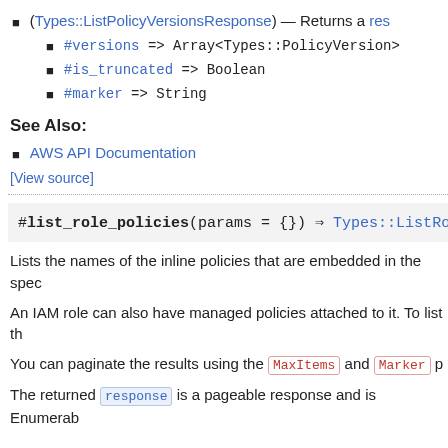(Types::ListPolicyVersionsResponse) — Returns a res
#versions => Array<Types::PolicyVersion>
#is_truncated => Boolean
#marker => String
See Also:
AWS API Documentation
[View source]
#list_role_policies(params = {}) ⇒ Types::ListRoleP
Lists the names of the inline policies that are embedded in the spec
An IAM role can also have managed policies attached to it. To list th
You can paginate the results using the MaxItems and Marker p
The returned response is a pageable response and is Enumerab